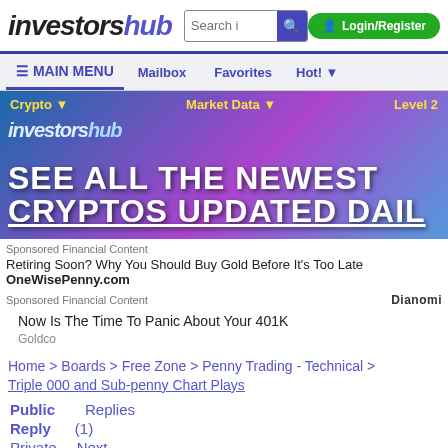investorsHub | MAIN MENU | Mailbox | Favorites | Hot!
[Figure (screenshot): InvestorsHub banner ad: SEE ALL THE NEWEST CRYPTOS UPDATED DAILY]
Sponsored Financial Content
Retiring Soon? Why You Should Buy Gold Before It's Too Late OneWisePenny.com
Sponsored Financial Content  Dianomi
Now Is The Time To Panic About Your 401K
Goldco
Home > Boards > Free Zone > Penny Trading - Technical >
Triple 000 and Sub-penny Chart Plays
Public   Replies
Reply   (1)
Private   Next